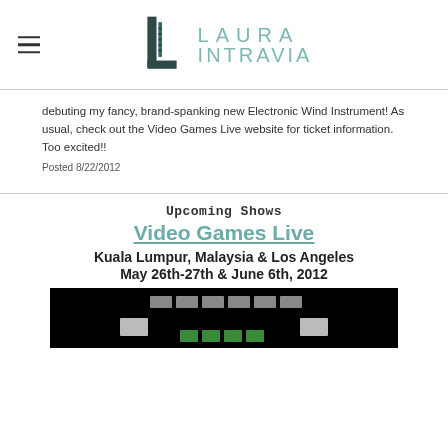[Figure (logo): Laura Intravia logo with stylized L icon and teal text reading LAURA INTRAVIA]
debuting my fancy, brand-spanking new Electronic Wind Instrument! As usual, check out the Video Games Live website for ticket information. Too excited!!
Posted 8/22/2012
Upcoming Shows
Video Games Live
Kuala Lumpur, Malaysia & Los Angeles
May 26th-27th & June 6th, 2012
[Figure (screenshot): Dark screenshot of a video game interface with green and gray button/block elements on a black background]